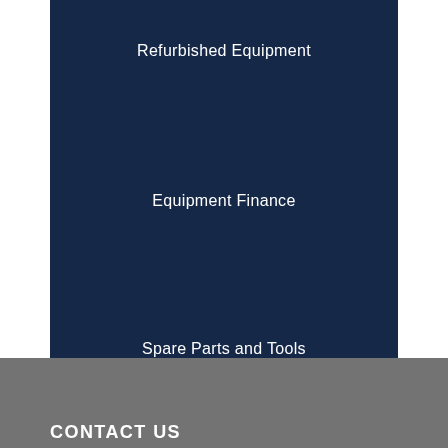Refurbished Equipment
Equipment Finance
Spare Parts and Tools
CONTACT US